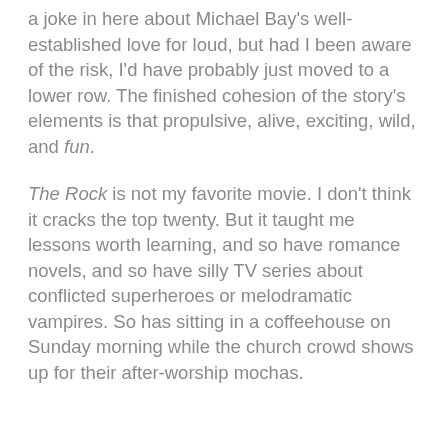a joke in here about Michael Bay's well-established love for loud, but had I been aware of the risk, I'd have probably just moved to a lower row. The finished cohesion of the story's elements is that propulsive, alive, exciting, wild, and fun.
The Rock is not my favorite movie. I don't think it cracks the top twenty. But it taught me lessons worth learning, and so have romance novels, and so have silly TV series about conflicted superheroes or melodramatic vampires. So has sitting in a coffeehouse on Sunday morning while the church crowd shows up for their after-worship mochas.